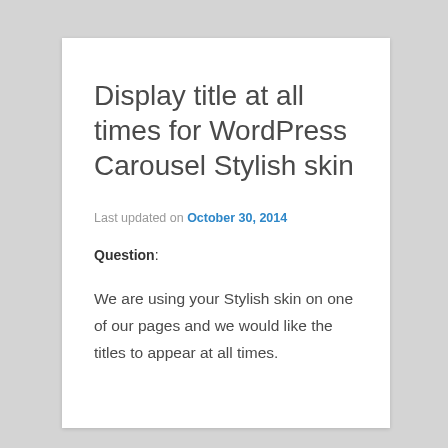Display title at all times for WordPress Carousel Stylish skin
Last updated on October 30, 2014
Question:
We are using your Stylish skin on one of our pages and we would like the titles to appear at all times.